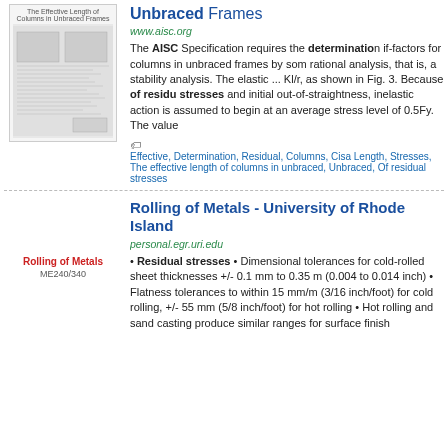[Figure (screenshot): Thumbnail of document page about effective length of columns in unbraced frames]
Unbraced Frames
www.aisc.org
The AISC Specification requires the determination if-factors for columns in unbraced frames by some rational analysis, that is, a stability analysis. The elastic ... Kl/r, as shown in Fig. 3. Because of residual stresses and initial out-of-straightness, inelastic action is assumed to begin at an average stress level of 0.5Fy. The value
Effective, Determination, Residual, Columns, Cisa Length, Stresses, The effective length of columns in unbraced, Unbraced, Of residual stresses
[Figure (screenshot): Thumbnail of Rolling of Metals document, ME240/340]
Rolling of Metals - University of Rhode Island
personal.egr.uri.edu
• Residual stresses • Dimensional tolerances for cold-rolled sheet thicknesses +/- 0.1 mm to 0.35 mm (0.004 to 0.014 inch) • Flatness tolerances to within 15 mm/m (3/16 inch/foot) for cold rolling, +/- 55 mm (5/8 inch/foot) for hot rolling • Hot rolling and sand casting produce similar ranges for surface finish